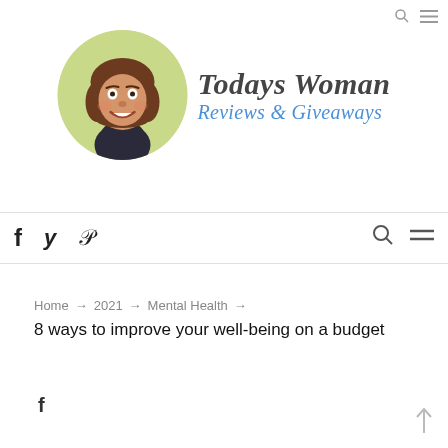[Figure (logo): Todays Woman Reviews & Giveaways blog logo with cartoon woman avatar in a circle and italic text]
f  y  p  [search icon]  [menu icon]
Home → 2021 → Mental Health →
8 ways to improve your well-being on a budget
f